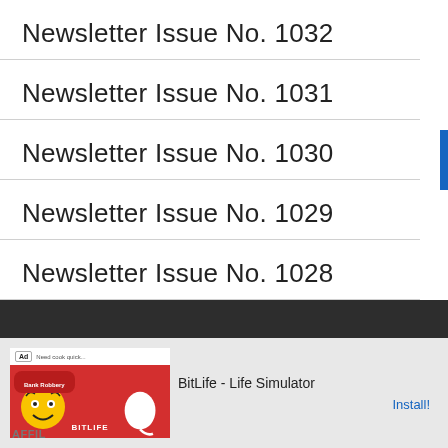Newsletter Issue No. 1032
Newsletter Issue No. 1031
Newsletter Issue No. 1030
Newsletter Issue No. 1029
Newsletter Issue No. 1028
[Figure (other): Advertisement banner for BitLife - Life Simulator app with install button]
AFFIL